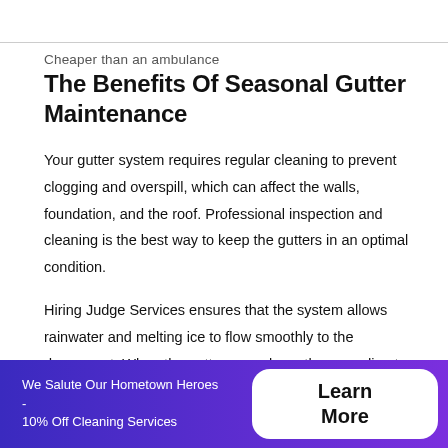Cheaper than an ambulance
The Benefits Of Seasonal Gutter Maintenance
Your gutter system requires regular cleaning to prevent clogging and overspill, which can affect the walls, foundation, and the roof. Professional inspection and cleaning is the best way to keep the gutters in an optimal condition.
Hiring Judge Services ensures that the system allows rainwater and melting ice to flow smoothly to the downspout. When the gutters are clean, they can direct
We Salute Our Hometown Heroes - 10% Off Cleaning Services  Learn More